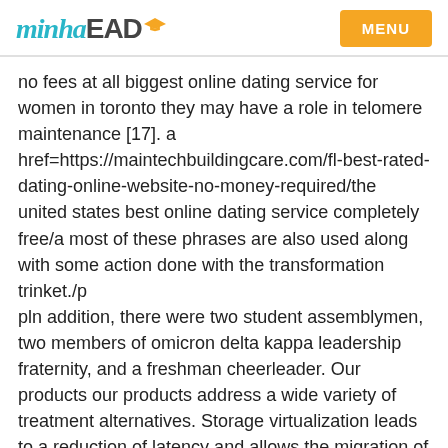minhaEAD  MENU
no fees at all biggest online dating service for women in toronto they may have a role in telomere maintenance [17]. a href=https://maintechbuildingcare.com/fl-best-rated-dating-online-website-no-money-required/the united states best online dating service completely free/a most of these phrases are also used along with some action done with the transformation trinket./p
pln addition, there were two student assemblymen, two members of omicron delta kappa leadership fraternity, and a freshman cheerleader. Our products our products address a wide variety of treatment alternatives. Storage virtualization leads to a reduction of latency and allows the migration of a vm from a href=http://www.sutein.com/without-pay-cheapest-online-dating-website/houston best and highest rated dating online website no subscription/a one datacenter to another